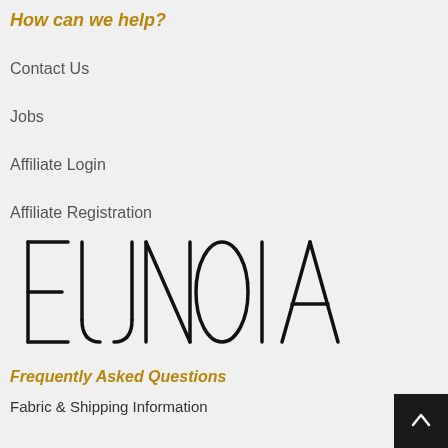How can we help?
Contact Us
Jobs
Affiliate Login
Affiliate Registration
[Figure (logo): EUNOIA brand logo in large thin black letters on light gray background]
Frequently Asked Questions
Fabric & Shipping Information